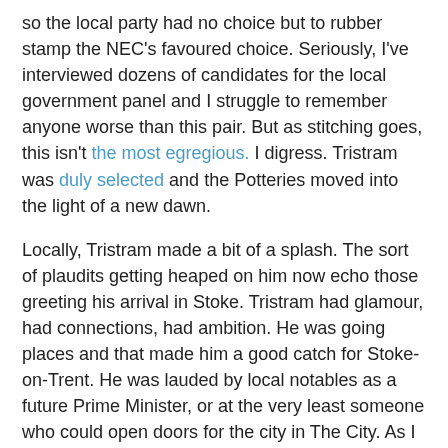so the local party had no choice but to rubber stamp the NEC's favoured choice. Seriously, I've interviewed dozens of candidates for the local government panel and I struggle to remember anyone worse than this pair. But as stitching goes, this isn't the most egregious. I digress. Tristram was duly selected and the Potteries moved into the light of a new dawn.
Locally, Tristram made a bit of a splash. The sort of plaudits getting heaped on him now echo those greeting his arrival in Stoke. Tristram had glamour, had connections, had ambition. He was going places and that made him a good catch for Stoke-on-Trent. He was lauded by local notables as a future Prime Minister, or at the very least someone who could open doors for the city in The City. As I was unemployed and despairing of ever finding work, Tristram was kind enough to offer me a job as a caseworker in the constituency office. Given the political distance between us it did give me pause, but in the end making a living came first. And I thoroughly enjoyed it. In addition to the casework, each of us in the office had a number of projects that aimed to define the shiny new MP in some way. For example, I was charged with putting together the 'Stoke Stories' conference in conjunction with the RSA to strengthen relationships between local third sector organisations, and lend any assistance and support the office could give them. Others over the last seven years included the backstamping